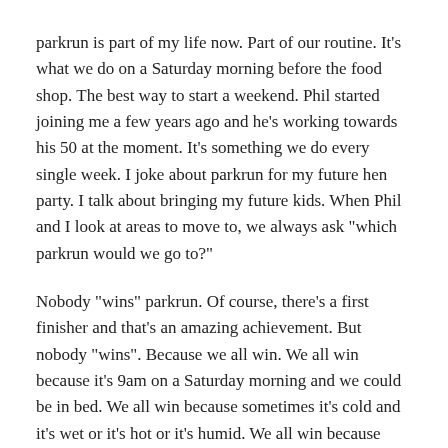parkrun is part of my life now. Part of our routine. It's what we do on a Saturday morning before the food shop. The best way to start a weekend. Phil started joining me a few years ago and he's working towards his 50 at the moment. It's something we do every single week. I joke about parkrun for my future hen party. I talk about bringing my future kids. When Phil and I look at areas to move to, we always ask "which parkrun would we go to?"
Nobody "wins" parkrun. Of course, there's a first finisher and that's an amazing achievement. But nobody "wins". Because we all win. We all win because it's 9am on a Saturday morning and we could be in bed. We all win because sometimes it's cold and it's wet or it's hot or it's humid. We all win because every time we're trying to beat past-us. We all win because we're trying to do better, each Saturday at a time.
parkrun is home. See you at 9am.